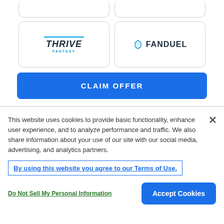[Figure (logo): Thrive Fantasy logo in a rounded card box (partially cut at top)]
[Figure (logo): FanDuel logo with shield icon in a rounded card box (partially cut at top)]
[Figure (logo): Thrive Fantasy logo card]
[Figure (logo): FanDuel logo card]
CLAIM OFFER
This website uses cookies to provide basic functionality, enhance user experience, and to analyze performance and traffic. We also share information about your use of our site with our social media, advertising, and analytics partners.
By using this website you agree to our Terms of Use.
Do Not Sell My Personal Information
Accept Cookies